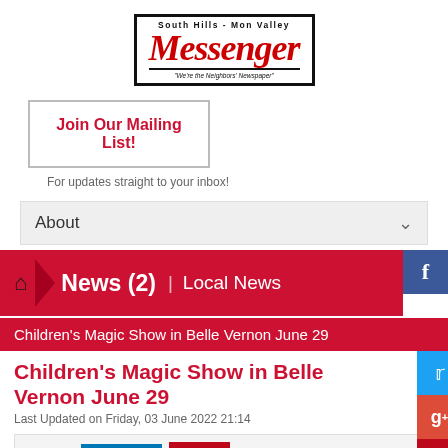[Figure (logo): South Hills - Mon Valley Messenger newspaper logo, red stylized text with tagline]
Join Our Mailing List!
For updates straight to your inbox!
About
News (2)  |  Local News
Children's Magic Show in Belle Vernon June 29
Children's Magic Show in Belle Vernon June 29
Last Updated on Friday, 03 June 2022 21:14
Twitter  Share  Pin it